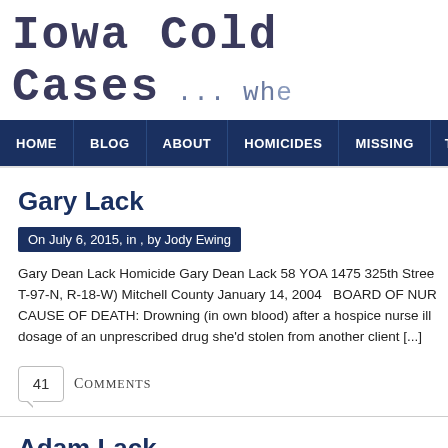Iowa Cold Cases  ... whe
HOME | BLOG | ABOUT | HOMICIDES | MISSING | THE C
Gary Lack
On July 6, 2015, in , by Jody Ewing
Gary Dean Lack Homicide Gary Dean Lack 58 YOA 1475 325th Stree T-97-N, R-18-W) Mitchell County January 14, 2004   BOARD OF NUR CAUSE OF DEATH: Drowning (in own blood) after a hospice nurse ill dosage of an unprescribed drug she'd stolen from another client [...]
41 Comments
Adam Lack